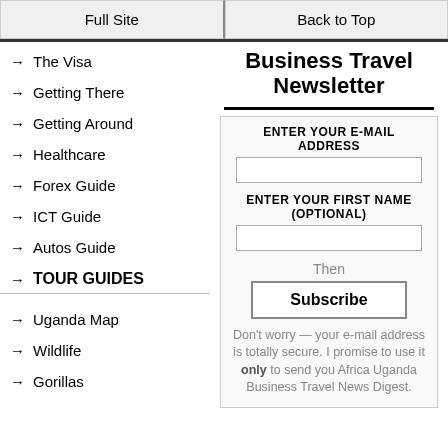Full Site | Back to Top
→ The Visa
→ Getting There
→ Getting Around
→ Healthcare
→ Forex Guide
→ ICT Guide
→ Autos Guide
→ TOUR GUIDES
→ Uganda Map
→ Wildlife
→ Gorillas
Business Travel Newsletter
ENTER YOUR E-MAIL ADDRESS
ENTER YOUR FIRST NAME (OPTIONAL)
Then
Subscribe
Don't worry — your e-mail address is totally secure. I promise to use it only to send you Africa Uganda Business Travel News Digest.